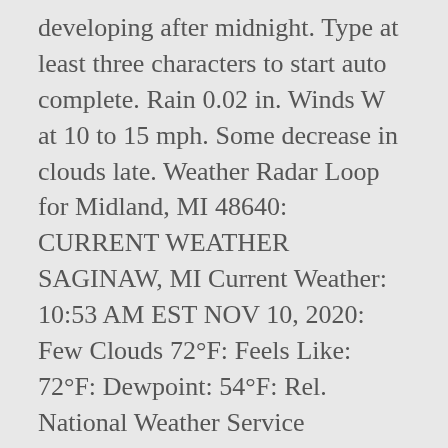developing after midnight. Type at least three characters to start auto complete. Rain 0.02 in. Winds W at 10 to 15 mph. Some decrease in clouds late. Weather Radar Loop for Midland, MI 48640: CURRENT WEATHER SAGINAW, MI Current Weather: 10:53 AM EST NOV 10, 2020: Few Clouds 72°F: Feels Like: 72°F: Dewpoint: 54°F: Rel. National Weather Service Enhanced Radar Image Midland/Odessa, TX Radar Go to: Standard Version Local weather forecast by "City, St" Radar Status Message : On or about December 16, 2020, the web pages here at radar.weather.gov will be replaced. Hi/Low, RealFeel®, precip, radar, & everything you need to be ready for the day, commute, and